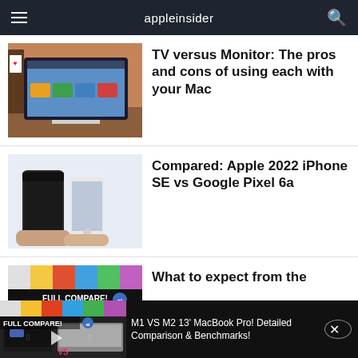appleinsider
[Figure (screenshot): Apple Studio Display or iMac on a desk showing a shelf with books and a TV screen displaying animated content]
TV versus Monitor: The pros and cons of using each with your Mac
[Figure (photo): Two hands holding two smartphones side by side - a Google Pixel 6a (larger, black) and Apple iPhone SE 2022 (smaller, white)]
Compared: Apple 2022 iPhone SE vs Google Pixel 6a
[Figure (screenshot): MacBook comparison video thumbnail showing FULL COMPARE! text with VS graphic and two MacBook laptops]
What to expect from the
M1 VS M2 13' MacBook Pro! Detailed Comparison & Benchmarks!